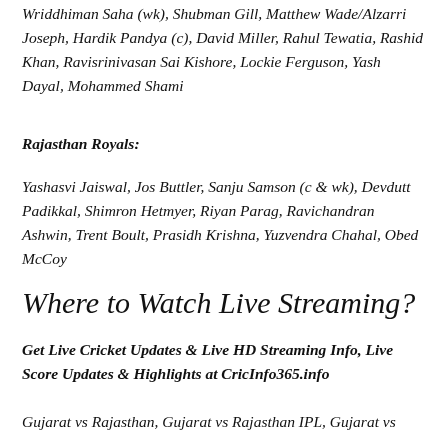Wriddhiman Saha (wk), Shubman Gill, Matthew Wade/Alzarri Joseph, Hardik Pandya (c), David Miller, Rahul Tewatia, Rashid Khan, Ravisrinivasan Sai Kishore, Lockie Ferguson, Yash Dayal, Mohammed Shami
Rajasthan Royals:
Yashasvi Jaiswal, Jos Buttler, Sanju Samson (c & wk), Devdutt Padikkal, Shimron Hetmyer, Riyan Parag, Ravichandran Ashwin, Trent Boult, Prasidh Krishna, Yuzvendra Chahal, Obed McCoy
Where to Watch Live Streaming?
Get Live Cricket Updates & Live HD Streaming Info, Live Score Updates & Highlights at CricInfo365.info
Gujarat vs Rajasthan, Gujarat vs Rajasthan IPL, Gujarat vs